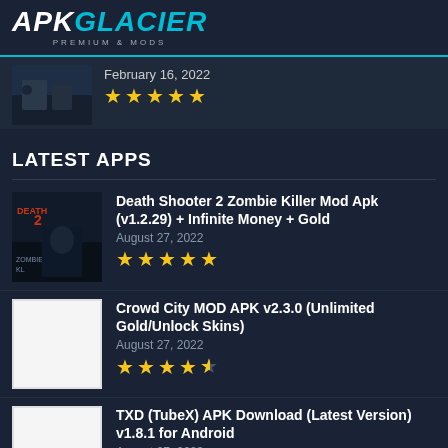[Figure (logo): APKGlacier logo with white APK and cyan GLACIER text, subtitle PREMIUM & MODS]
[Figure (photo): Game screenshot thumbnail for a dark action game]
February 16, 2022
★★★★★
LATEST APPS
[Figure (photo): Death Shooter 2 Zombie Killer game icon - dark theme with zombie imagery]
Death Shooter 2 Zombie Killer Mod Apk (v1.2.29) + Infinite Money + Gold
August 27, 2022
★★★★★
[Figure (photo): Crowd City MOD APK app icon - white background]
Crowd City MOD APK v2.3.0 (Unlimited Gold/Unlock Skins)
August 27, 2022
★★★★½
[Figure (photo): TXD TubeX APK app icon - white background]
TXD (TubeX) APK Download (Latest Version) v1.8.1 for Android
August 27, 2022